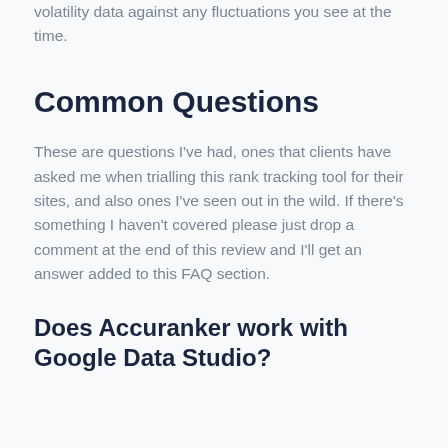volatility data against any fluctuations you see at the time.
Common Questions
These are questions I've had, ones that clients have asked me when trialling this rank tracking tool for their sites, and also ones I've seen out in the wild. If there's something I haven't covered please just drop a comment at the end of this review and I'll get an answer added to this FAQ section.
Does Accuranker work with Google Data Studio?